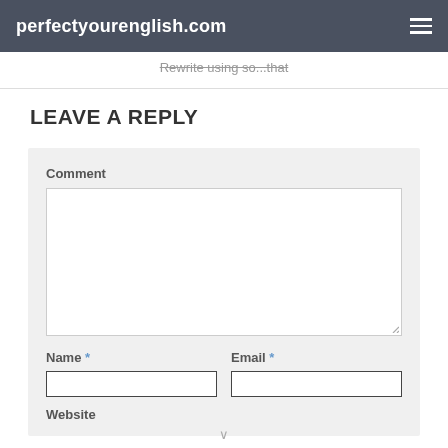perfectyourenglish.com
Rewrite using so...that
LEAVE A REPLY
Comment
Name * Email *
Website